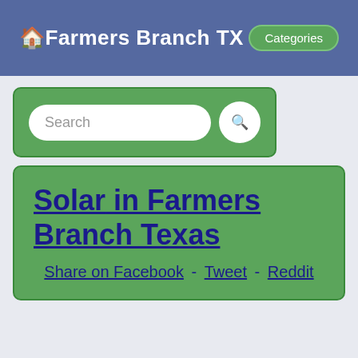🏠Farmers Branch TX  Categories
[Figure (other): Search box with text input field and search button, inside a green rounded rectangle container]
Solar in Farmers Branch Texas
Share on Facebook - Tweet - Reddit